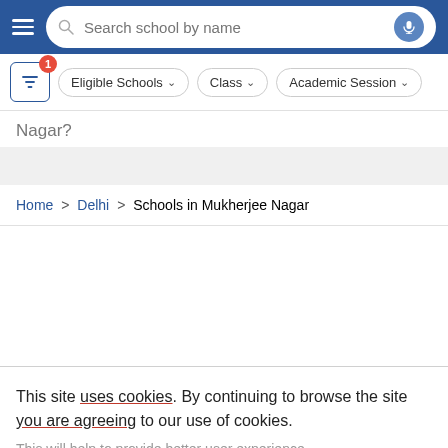[Figure (screenshot): Mobile app navigation bar with hamburger menu, search box 'Search school by name', and mic button on blue background]
[Figure (screenshot): Filter bar with filter icon (badge 1), Eligible Schools dropdown, Class dropdown, Academic Session dropdown]
Nagar?
Home > Delhi > Schools in Mukherjee Nagar
This site uses cookies. By continuing to browse the site you are agreeing to our use of cookies.
This will help to provide better user experience.
Ok, I Understand